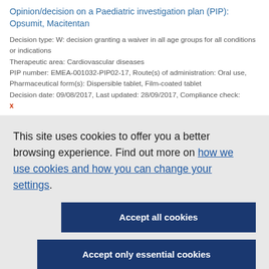Opinion/decision on a Paediatric investigation plan (PIP): Opsumit, Macitentan
Decision type: W: decision granting a waiver in all age groups for all conditions or indications
Therapeutic area: Cardiovascular diseases
PIP number: EMEA-001032-PIP02-17, Route(s) of administration: Oral use, Pharmaceutical form(s): Dispersible tablet, Film-coated tablet
Decision date: 09/08/2017, Last updated: 28/09/2017, Compliance check: x
This site uses cookies to offer you a better browsing experience. Find out more on how we use cookies and how you can change your settings.